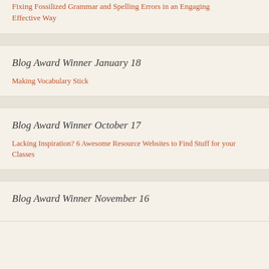Fixing Fossilized Grammar and Spelling Errors in an Engaging Effective Way
Blog Award Winner January 18
Making Vocabulary Stick
Blog Award Winner October 17
Lacking Inspiration? 6 Awesome Resource Websites to Find Stuff for your Classes
Blog Award Winner November 16